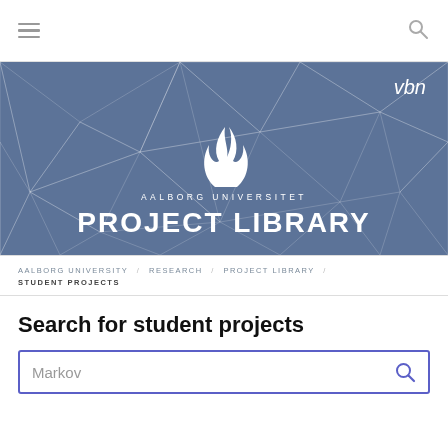Navigation bar with hamburger menu and search icon
[Figure (logo): Aalborg Universitet logo with geometric triangle background and 'vbn' text. Hero banner with blue/slate background showing geometric wireframe triangles, AAU flame logo, 'AALBORG UNIVERSITET' wordmark, and 'PROJECT LIBRARY' large heading.]
AALBORG UNIVERSITY / RESEARCH / PROJECT LIBRARY / STUDENT PROJECTS
Search for student projects
Markov